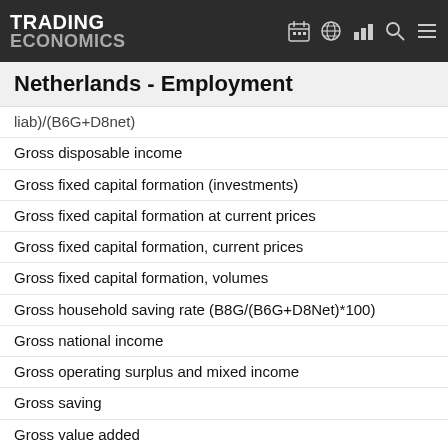TRADING ECONOMICS
Netherlands - Employment
liab)/(B6G+D8net)
Gross disposable income
Gross fixed capital formation (investments)
Gross fixed capital formation at current prices
Gross fixed capital formation, current prices
Gross fixed capital formation, volumes
Gross household saving rate (B8G/(B6G+D8Net)*100)
Gross national income
Gross operating surplus and mixed income
Gross saving
Gross value added
Gross value added: Agriculture, forestry and fishing
Gross value added: Arts, entertainment and recreation; other service activities; activities of household and extra-territorial organizations and bodies
Gross value added: Construction
Gross value added: Financial and insurance activities